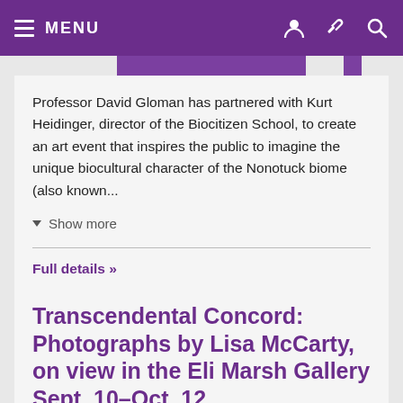MENU
Professor David Gloman has partnered with Kurt Heidinger, director of the Biocitizen School, to create an art event that inspires the public to imagine the unique biocultural character of the Nonotuck biome (also known...
Show more
Full details »
Transcendental Concord: Photographs by Lisa McCarty, on view in the Eli Marsh Gallery Sept. 10–Oct. 12
UNTIL OCT 12